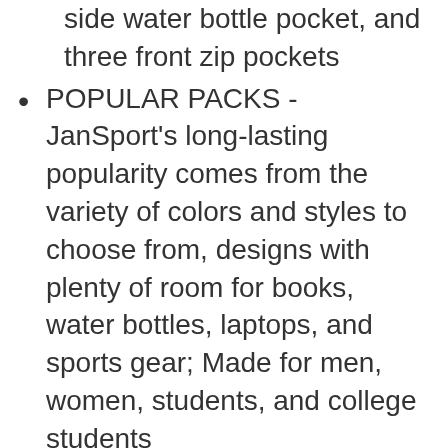front zip pockets
POPULAR PACKS - JanSport's long-lasting popularity comes from the variety of colors and styles to choose from, designs with plenty of room for books, water bottles, laptops, and sports gear; Made for men, women, students, and college students
WE'RE ABOUT THE JOURNEY - JanSport gear inspires your journey from your first school backpack and lunch bag to the messenger bag for your first interview, from running